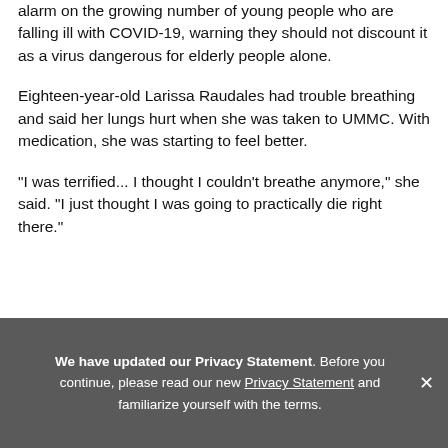alarm on the growing number of young people who are falling ill with COVID-19, warning they should not discount it as a virus dangerous for elderly people alone.
Eighteen-year-old Larissa Raudales had trouble breathing and said her lungs hurt when she was taken to UMMC. With medication, she was starting to feel better.
"I was terrified... I thought I couldn't breathe anymore," she said. "I just thought I was going to practically die right there."
We have updated our Privacy Statement. Before you continue, please read our new Privacy Statement and familiarize yourself with the terms.